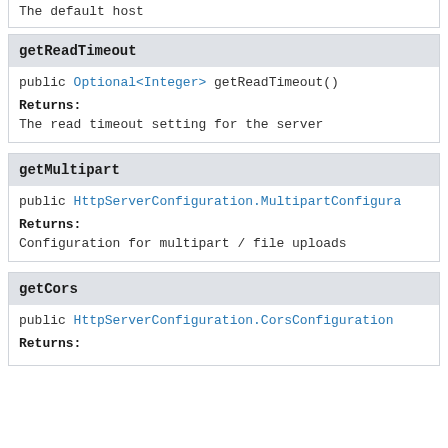The default host
getReadTimeout
public Optional<Integer> getReadTimeout()
Returns:
The read timeout setting for the server
getMultipart
public HttpServerConfiguration.MultipartConfiguration getMultipart()
Returns:
Configuration for multipart / file uploads
getCors
public HttpServerConfiguration.CorsConfiguration getCors()
Returns: